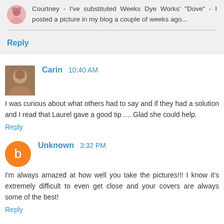Courtney - I've substituted Weeks Dye Works' "Dove" - I posted a picture in my blog a couple of weeks ago...
Reply
Carin 10:40 AM
I was curious about what others had to say and if they had a solution and I read that Laurel gave a good tip .... Glad she could help.
Reply
Unknown 3:32 PM
I'm always amazed at how well you take the pictures!!! I know it's extremely difficult to even get close and your covers are always some of the best!
Reply